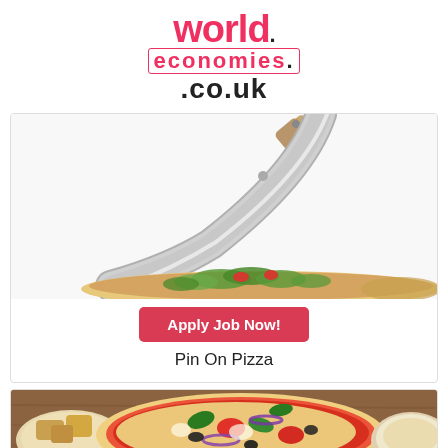[Figure (logo): worldeconomies.co.uk logo in pink/red and black]
[Figure (photo): A pizza cutter/knife being held over a pizza with salad toppings, white background]
Apply Job Now!
Pin On Pizza
[Figure (photo): Two pizzas with toppings including tomatoes, olives, red onion, basil leaves on a wooden table, partially visible]